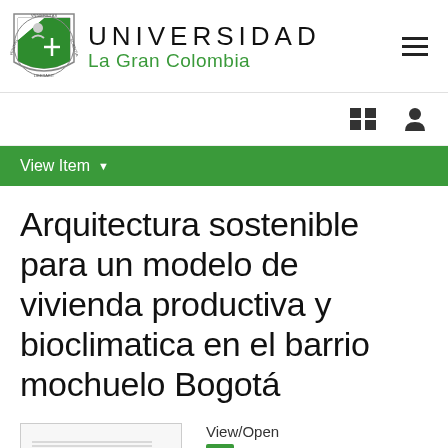UNIVERSIDAD La Gran Colombia
View Item
Arquitectura sostenible para un modelo de vivienda productiva y bioclimatica en el barrio mochuelo Bogotá
View/Open